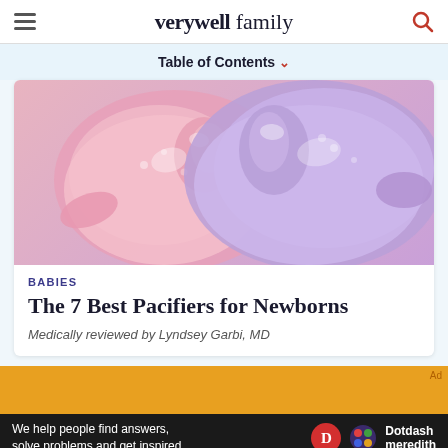verywell family
Table of Contents
[Figure (photo): Close-up photo of two pacifiers side by side — one pink and one purple/violet, both translucent silicone]
BABIES
The 7 Best Pacifiers for Newborns
Medically reviewed by Lyndsey Garbi, MD
[Figure (other): Orange/amber advertisement banner strip]
We help people find answers, solve problems and get inspired.
Dotdash meredith